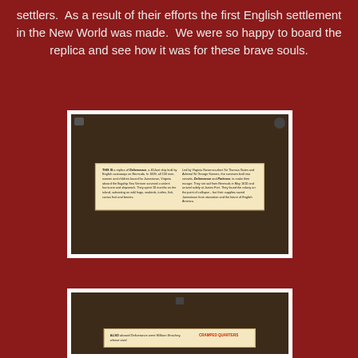settlers. As a result of their efforts the first English settlement in the New World was made. We were so happy to board the replica and see how it was for these brave souls.
[Figure (photo): A photograph of an informational sign about the Deliverance, a 40-foot ship built by English castaways on Bermuda, mounted on a dark wooden wall with metal hardware visible at corners]
[Figure (photo): A second photograph showing the bottom portion of an informational sign aboard Deliverance mentioning William Strachey and cramped quarters, with red header text reading CRAMPED QUARTERS]